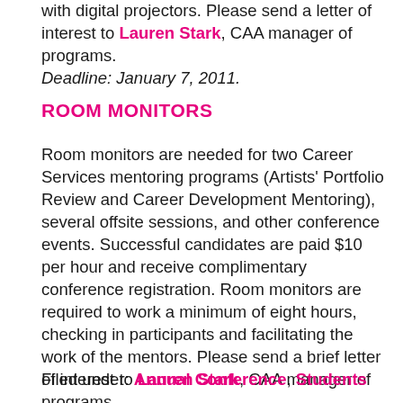with digital projectors. Please send a letter of interest to Lauren Stark, CAA manager of programs. Deadline: January 7, 2011.
ROOM MONITORS
Room monitors are needed for two Career Services mentoring programs (Artists' Portfolio Review and Career Development Mentoring), several offsite sessions, and other conference events. Successful candidates are paid $10 per hour and receive complimentary conference registration. Room monitors are required to work a minimum of eight hours, checking in participants and facilitating the work of the mentors. Please send a brief letter of interest to Lauren Stark, CAA manager of programs. Deadline: January 7, 2011.
Filed under: Annual Conference, Students —